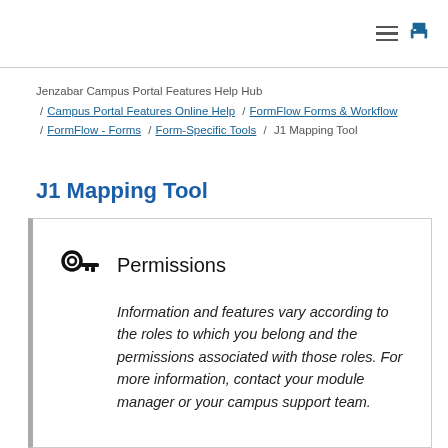[hamburger menu icon] [print icon]
Jenzabar Campus Portal Features Help Hub / Campus Portal Features Online Help / FormFlow Forms & Workflow / FormFlow - Forms / Form-Specific Tools / J1 Mapping Tool
J1 Mapping Tool
Permissions
Information and features vary according to the roles to which you belong and the permissions associated with those roles. For more information, contact your module manager or your campus support team.